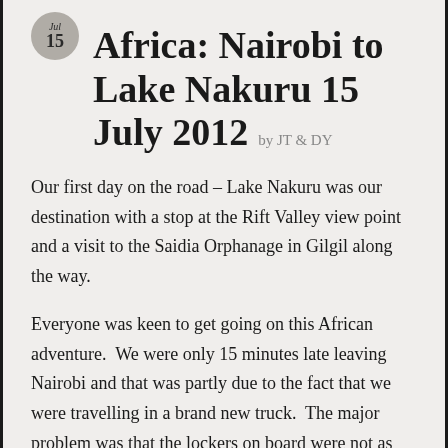Africa: Nairobi to Lake Nakuru 15 July 2012 by JT & DY
Our first day on the road – Lake Nakuru was our destination with a stop at the Rift Valley view point and a visit to the Saidia Orphanage in Gilgil along the way.
Everyone was keen to get going on this African adventure.  We were only 15 minutes late leaving Nairobi and that was partly due to the fact that we were travelling in a brand new truck.  The major problem was that the lockers on board were not as big as we had expected from reading the tour brochure.  The crew were somewhat dismayed.